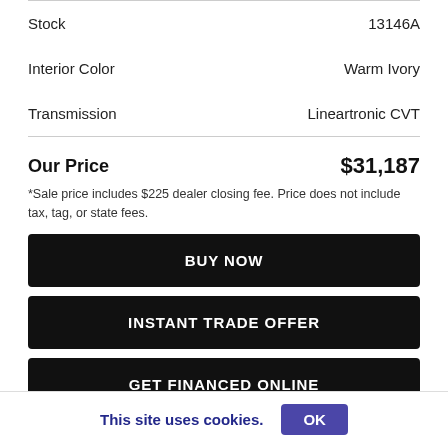|  |  |
| --- | --- |
| Stock | 13146A |
| Interior Color | Warm Ivory |
| Transmission | Lineartronic CVT |
Our Price   $31,187
*Sale price includes $225 dealer closing fee. Price does not include tax, tag, or state fees.
BUY NOW
INSTANT TRADE OFFER
GET FINANCED ONLINE
This site uses cookies.  OK